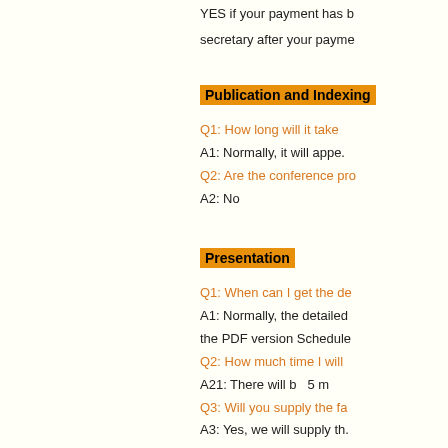YES if your payment has b... secretary after your payme...
Publication and Indexing
Q1: How long will it take
A1: Normally, it will appe...
Q2: Are the conference pro...
A2: No
Presentation
Q1: When can I get the de...
A1: Normally, the detailed... the PDF version Schedule
Q2: How much time I will...
A21: There will b... 5 m...
Q3: Will you supply the fa...
A3: Yes, we will supply th...